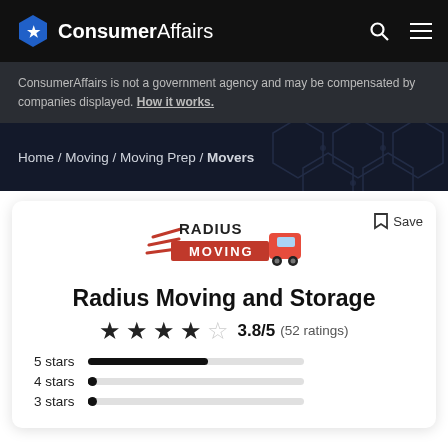ConsumerAffairs
ConsumerAffairs is not a government agency and may be compensated by companies displayed. How it works.
Home / Moving / Moving Prep / Movers
[Figure (logo): Radius Moving logo with red truck and speed lines]
Radius Moving and Storage
3.8/5 (52 ratings)
[Figure (bar-chart): Star rating distribution]